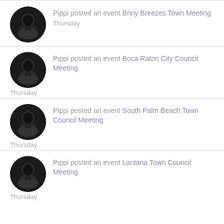Pippi posted an event Briny Breezes Town Meeting
Thursday
Pippi posted an event Boca Raton City Council Meeting
Thursday
Pippi posted an event South Palm Beach Town Council Meeting
Thursday
Pippi posted an event Lantana Town Council Meeting
Thursday